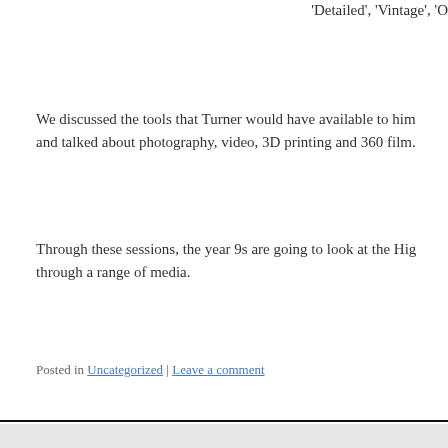'Detailed', 'Vintage', 'O…
We discussed the tools that Turner would have available to him and talked about photography, video, 3D printing and 360 film.
Through these sessions, the year 9s are going to look at the High… through a range of media.
Posted in Uncategorized | Leave a comment
Blog Admin
Log in
Entries feed
Comments feed
WordPress.org
Turner's High Street